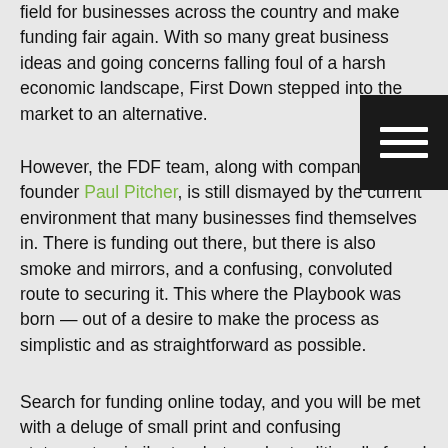field for businesses across the country and make funding fair again. With so many great business ideas and going concerns falling foul of a harsh economic landscape, First Down stepped into the market to an alternative.
However, the FDF team, along with company founder Paul Pitcher, is still dismayed by the current environment that many businesses find themselves in. There is funding out there, but there is also smoke and mirrors, and a confusing, convoluted route to securing it. This where the Playbook was born — out of a desire to make the process as simplistic and as straightforward as possible.
Search for funding online today, and you will be met with a deluge of small print and confusing statements, similar to what can be traditionally found on credit card